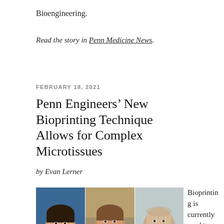Bioengineering.
Read the story in Penn Medicine News.
FEBRUARY 18, 2021
Penn Engineers’ New Bioprinting Technique Allows for Complex Microtissues
by Evan Lerner
[Figure (photo): Three headshot photos of researchers side by side.]
Bioprinting is currently used to generate model